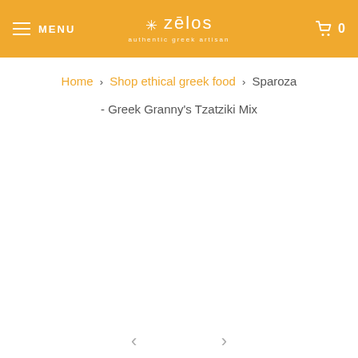MENU | zēlos authentic greek artisan | 0
Home > Shop ethical greek food > Sparoza - Greek Granny's Tzatziki Mix